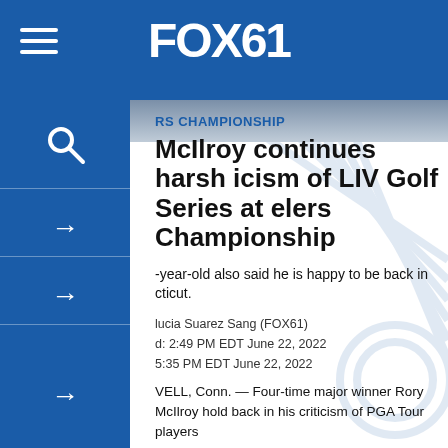FOX61
RS CHAMPIONSHIP
McIlroy continues harsh icism of LIV Golf Series at elers Championship
-year-old also said he is happy to be back in cticut.
lucia Suarez Sang (FOX61)
d: 2:49 PM EDT June 22, 2022
5:35 PM EDT June 22, 2022
VELL, Conn. — Four-time major winner Rory McIlroy hold back in his criticism of PGA Tour players